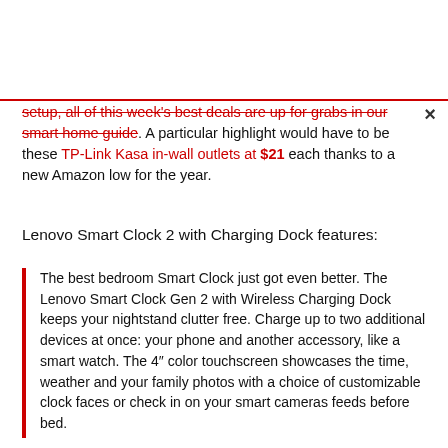setup, all of this week's best deals are up for grabs in our smart home guide. A particular highlight would have to be these TP-Link Kasa in-wall outlets at $21 each thanks to a new Amazon low for the year.
Lenovo Smart Clock 2 with Charging Dock features:
The best bedroom Smart Clock just got even better. The Lenovo Smart Clock Gen 2 with Wireless Charging Dock keeps your nightstand clutter free. Charge up to two additional devices at once: your phone and another accessory, like a smart watch. The 4" color touchscreen showcases the time, weather and your family photos with a choice of customizable clock faces or check in on your smart cameras feeds before bed.